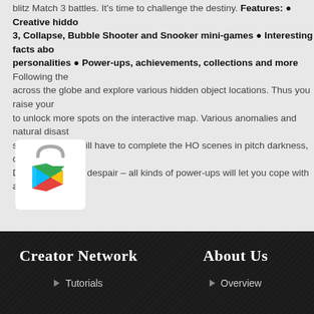blitz Match 3 battles. It's time to challenge the destiny. Features: • Creative hidden object scenes including Match 3, Collapse, Bubble Shooter and Snooker mini-games • Interesting facts about famous personalities • Power-ups, achievements, collections and more Following the across the globe and explore various hidden object locations. Thus you raise your to unlock more spots on the interactive map. Various anomalies and natural disasters sometimes you will have to complete the HO scenes in pitch darkness, or face the Don't give way to despair – all kinds of power-ups will let you cope with any trouble
[Figure (logo): Google Play Store icon - shopping bag with Google Play triangle logo]
[Figure (logo): Apple App Store icon - blue rounded square with white letter A made of sticks]
Creator Network
Tutorials
About Us
Overview